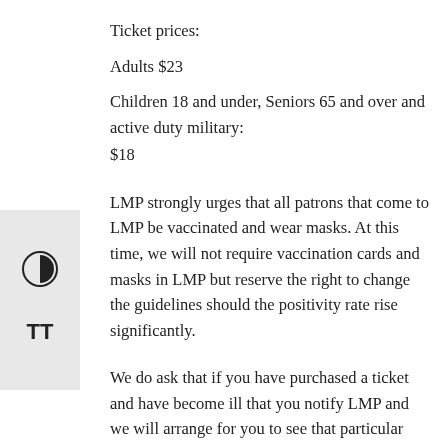Ticket prices:
Adults $23
Children 18 and under, Seniors 65 and over and active duty military:
$18
LMP strongly urges that all patrons that come to LMP be vaccinated and wear masks. At this time, we will not require vaccination cards and masks in LMP but reserve the right to change the guidelines should the positivity rate rise significantly.
We do ask that if you have purchased a ticket and have become ill that you notify LMP and we will arrange for you to see that particular performance later or another show in the future.